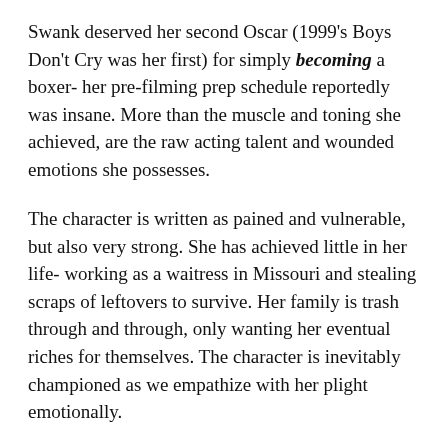Swank deserved her second Oscar (1999's Boys Don't Cry was her first) for simply becoming a boxer- her pre-filming prep schedule reportedly was insane. More than the muscle and toning she achieved, are the raw acting talent and wounded emotions she possesses.
The character is written as pained and vulnerable, but also very strong. She has achieved little in her life- working as a waitress in Missouri and stealing scraps of leftovers to survive. Her family is trash through and through, only wanting her eventual riches for themselves. The character is inevitably championed as we empathize with her plight emotionally.
Finally, Freeman deserves recognition for being the ultimate supporting actor. Eddie Dupris, a former fighter blind in one eye, is the center point of the story and frequently narrates the actions of others, oftentimes offering a glimpse into the psyche of individuals. The voice of reason, he is observant and